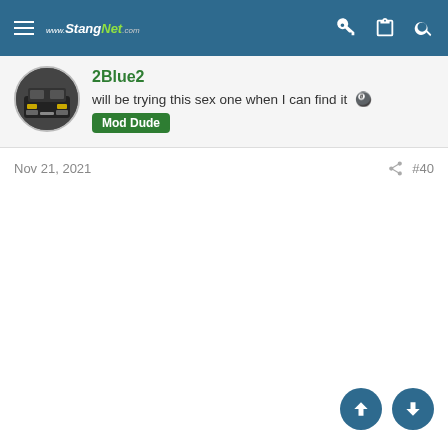www.StangNet.com
2Blue2
will be trying this sex one when I can find it 🎱 Mod Dude
Nov 21, 2021  #40